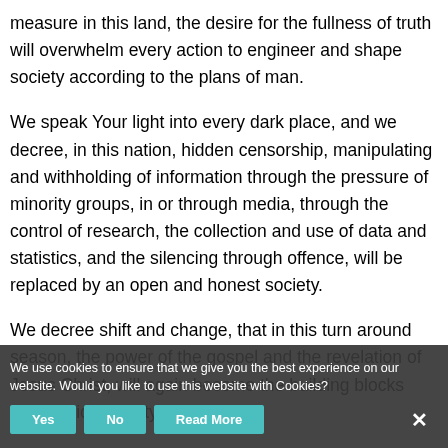measure in this land, the desire for the fullness of truth will overwhelm every action to engineer and shape society according to the plans of man.
We speak Your light into every dark place, and we decree, in this nation, hidden censorship, manipulating and withholding of information through the pressure of minority groups, in or through media, through the control of research, the collection and use of data and statistics, and the silencing through offence, will be replaced by an open and honest society.
We decree shift and change, that in this turn around season, the power of the gospel and the revelation of Jesus Christ, will again become the building blocks upon which society leans.
We use cookies to ensure that we give you the best experience on our website. Would you like to use this website with Cookies?